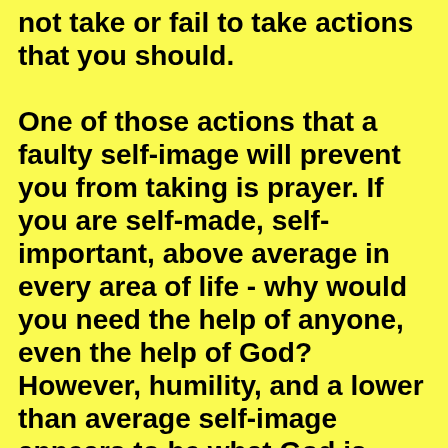not take or fail to take actions that you should.

One of those actions that a faulty self-image will prevent you from taking is prayer. If you are self-made, self-important, above average in every area of life - why would you need the help of anyone, even the help of God? However, humility, and a lower than average self-image appears to be what God is looking for in His most special servants. In Micah 6:8 we are told, ï¿½He has shown you, O man, what is good; and what does the LORD require of you but to do justly, to love mercy, and to walk humbly with your God?ï¿½ Then, in 1 Peter we have this